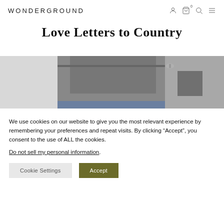WONDERGROUND
Love Letters to Country
[Figure (photo): Interior room photo showing ceiling with track lighting and grey/blue walls, top portion of a room interior]
We use cookies on our website to give you the most relevant experience by remembering your preferences and repeat visits. By clicking “Accept”, you consent to the use of ALL the cookies.
Do not sell my personal information.
Cookie Settings
Accept